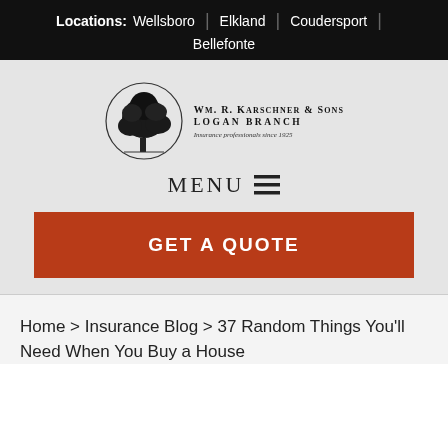Locations: Wellsboro | Elkland | Coudersport | Bellefonte
[Figure (logo): Wm. R. Karschner & Sons Logan Branch logo with tree illustration and text 'Insurance professionals since 1925']
MENU ≡
GET A QUOTE
Home > Insurance Blog > 37 Random Things You'll Need When You Buy a House